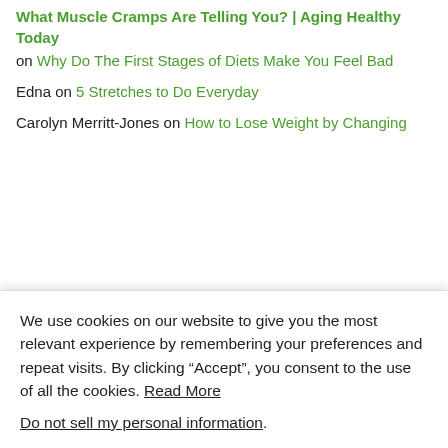What Muscle Cramps Are Telling You? | Aging Healthy Today on Why Do The First Stages of Diets Make You Feel Bad
Edna on 5 Stretches to Do Everyday
Carolyn Merritt-Jones on How to Lose Weight by Changing
We use cookies on our website to give you the most relevant experience by remembering your preferences and repeat visits. By clicking “Accept”, you consent to the use of all the cookies. Read More
Do not sell my personal information.
Cookie settings
ACCEPT